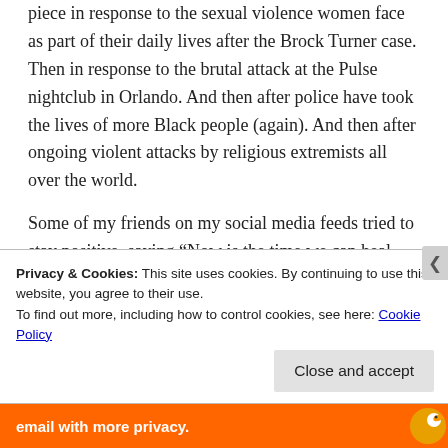piece in response to the sexual violence women face as part of their daily lives after the Brock Turner case. Then in response to the brutal attack at the Pulse nightclub in Orlando. And then after police have took the lives of more Black people (again). And then after ongoing violent attacks by religious extremists all over the world.
Some of my friends on my social media feeds tried to stay positive, saying “Now is the time we can heal, now is the time we can address these injustices,” or, “At least all this ugliness is out in the open and taken more seriously as injustice.” And as communities who care about social
Privacy & Cookies: This site uses cookies. By continuing to use this website, you agree to their use.
To find out more, including how to control cookies, see here: Cookie Policy
Close and accept
[Figure (other): Orange bottom bar with white text 'email with more privacy.' and a cartoon duck icon on the right]